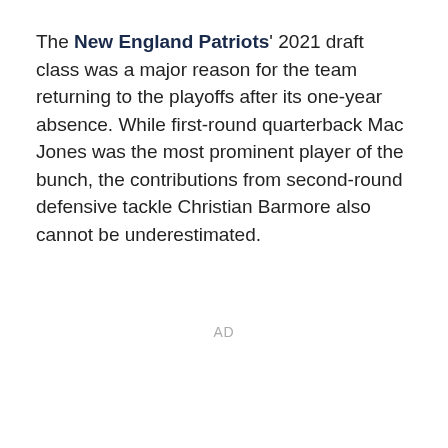The New England Patriots' 2021 draft class was a major reason for the team returning to the playoffs after its one-year absence. While first-round quarterback Mac Jones was the most prominent player of the bunch, the contributions from second-round defensive tackle Christian Barmore also cannot be underestimated.
AD